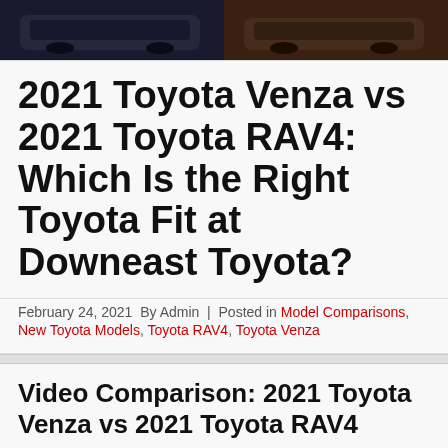[Figure (photo): Two Toyota vehicles side by side — dark SUV on left against dark background, SUV on right against outdoor/dirt background]
2021 Toyota Venza vs 2021 Toyota RAV4: Which Is the Right Toyota Fit at Downeast Toyota?
February 24, 2021  By Admin  |  Posted in Model Comparisons, New Toyota Models, Toyota RAV4, Toyota Venza
Video Comparison: 2021 Toyota Venza vs 2021 Toyota RAV4
Are you looking for a fun-to-drive and fuel-efficient Toyota crossover that fits your lifestyle and budget in the Bangor